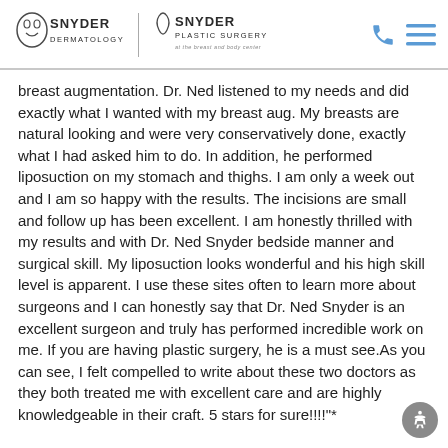Snyder Dermatology | Snyder Plastic Surgery
breast augmentation. Dr. Ned listened to my needs and did exactly what I wanted with my breast aug. My breasts are natural looking and were very conservatively done, exactly what I had asked him to do. In addition, he performed liposuction on my stomach and thighs. I am only a week out and I am so happy with the results. The incisions are small and follow up has been excellent. I am honestly thrilled with my results and with Dr. Ned Snyder bedside manner and surgical skill. My liposuction looks wonderful and his high skill level is apparent. I use these sites often to learn more about surgeons and I can honestly say that Dr. Ned Snyder is an excellent surgeon and truly has performed incredible work on me. If you are having plastic surgery, he is a must see.As you can see, I felt compelled to write about these two doctors as they both treated me with excellent care and are highly knowledgeable in their craft. 5 stars for sure!!!!"*